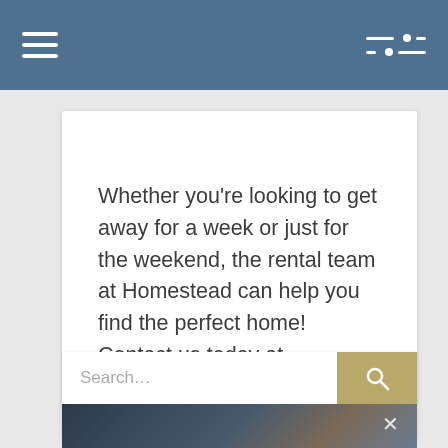Navigation bar with hamburger menu and settings icon
Whether you’re looking to get away for a week or just for the weekend, the rental team at Homestead can help you find the perfect home! Contact us today at 609.884.1888.
[Figure (screenshot): Search bar with placeholder text 'Search...' and a gold/tan search button with magnifying glass icon]
[Figure (photo): Blurred dark photo with a close (X) button in the upper right corner]